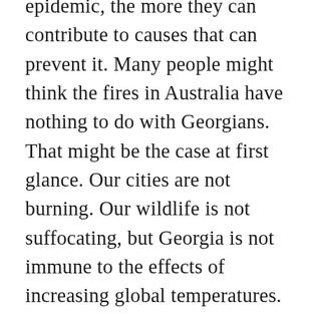epidemic, the more they can contribute to causes that can prevent it. Many people might think the fires in Australia have nothing to do with Georgians. That might be the case at first glance. Our cities are not burning. Our wildlife is not suffocating, but Georgia is not immune to the effects of increasing global temperatures. According to the States At Risk site, Georgia experiences about “20 dangerous heat days a year.” In about 30 years, the amount of dangerous heat days Georgia experiences is expected to more than triple. For now, Georgia can skate by, but in the future, we could experience similar disastrous effects in our region which means we should act now and support those who are struggling by educating, donating, and actively choosing to engage with green initiatives (recycling, reducing waste, using sustainable products).